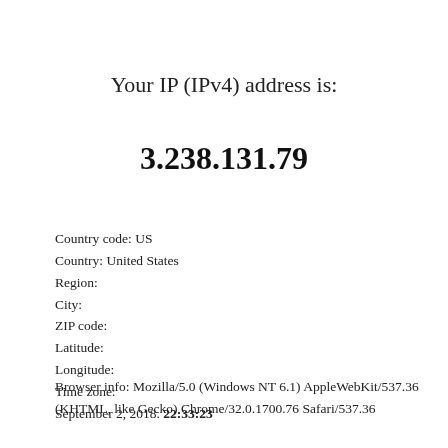Your IP (IPv4) address is:
3.238.131.79
Country code: US
Country: United States
Region:
City:
ZIP code:
Latitude:
Longitude:
Time zone:
September 2, 2018. 22:33:23
Browser info: Mozilla/5.0 (Windows NT 6.1) AppleWebKit/537.36 (KHTML, like Gecko) Chrome/32.0.1700.76 Safari/537.36